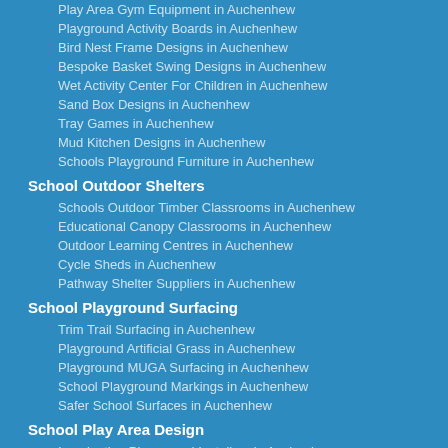Play Area Gym Equipment in Auchenhew
Playground Activity Boards in Auchenhew
Bird Nest Frame Designs in Auchenhew
Bespoke Basket Swing Designs in Auchenhew
Wet Activity Center For Children in Auchenhew
Sand Box Designs in Auchenhew
Tray Games in Auchenhew
Mud Kitchen Designs in Auchenhew
Schools Playground Furniture in Auchenhew
School Outdoor Shelters
Schools Outdoor Timber Classrooms in Auchenhew
Educational Canopy Classrooms in Auchenhew
Outdoor Learning Centres in Auchenhew
Cycle Sheds in Auchenhew
Pathway Shelter Suppliers in Auchenhew
School Playground Surfacing
Trim Trail Surfacing in Auchenhew
Playground Artificial Grass in Auchenhew
Playground MUGA Surfacing in Auchenhew
School Playground Markings in Auchenhew
Safer School Surfaces in Auchenhew
School Play Area Design
Imagination Playground Installers in Auchenhew